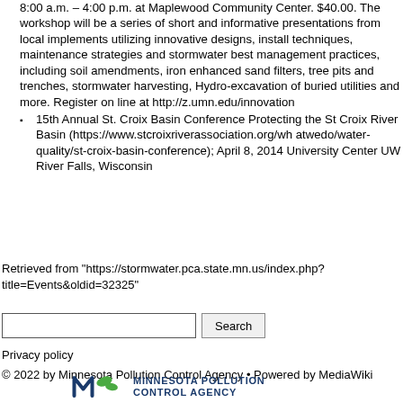8:00 a.m. – 4:00 p.m. at Maplewood Community Center. $40.00. The workshop will be a series of short and informative presentations from local implements utilizing innovative designs, install techniques, maintenance strategies and stormwater best management practices, including soil amendments, iron enhanced sand filters, tree pits and trenches, stormwater harvesting, Hydro-excavation of buried utilities and more. Register on line at http://z.umn.edu/innovation
15th Annual St. Croix Basin Conference Protecting the St Croix River Basin (https://www.stcroixriverassociation.org/whatwedo/water-quality/st-croix-basin-conference); April 8, 2014 University Center UW River Falls, Wisconsin
Retrieved from "https://stormwater.pca.state.mn.us/index.php?title=Events&oldid=32325"
Privacy policy
© 2022 by Minnesota Pollution Control Agency • Powered by MediaWiki
[Figure (logo): Minnesota Pollution Control Agency logo with stylized M and green element, followed by MINNESOTA POLLUTION CONTROL AGENCY text in blue]